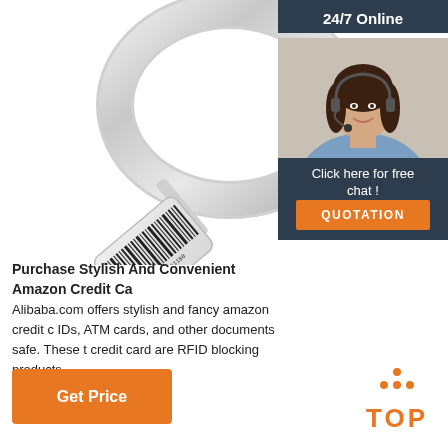[Figure (photo): Silver ring with a barcode tag pendant on white background]
24/7 Online
[Figure (photo): Customer service woman with headset smiling, for 24/7 online chat panel]
Click here for free chat !
QUOTATION
Purchase Stylish And Convenient Amazon Credit Ca...
Alibaba.com offers stylish and fancy amazon credit c... IDs, ATM cards, and other documents safe. These t... credit card are RFID blocking products.
Get Price
[Figure (logo): Orange TOP button with dot pattern above it]